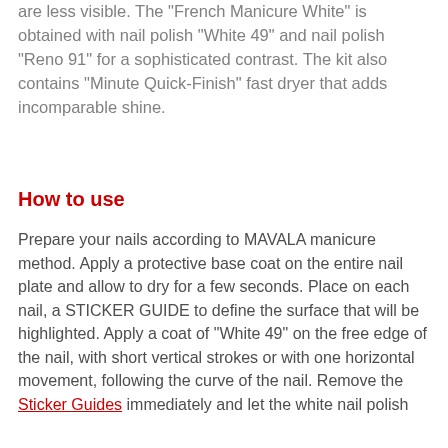are less visible. The "French Manicure White" is obtained with nail polish "White 49" and nail polish "Reno 91" for a sophisticated contrast. The kit also contains "Minute Quick-Finish" fast dryer that adds incomparable shine.
How to use
Prepare your nails according to MAVALA manicure method. Apply a protective base coat on the entire nail plate and allow to dry for a few seconds. Place on each nail, a STICKER GUIDE to define the surface that will be highlighted. Apply a coat of "White 49" on the free edge of the nail, with short vertical strokes or with one horizontal movement, following the curve of the nail. Remove the Sticker Guides immediately and let the white nail polish